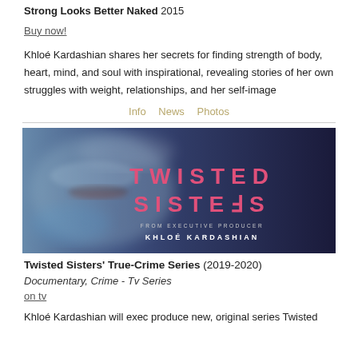Strong Looks Better Naked 2015
Buy now!
Khloé Kardashian shares her secrets for finding strength of body, heart, mind, and soul with inspirational, revealing stories of her own struggles with weight, relationships, and her self-image
Info   News   Photos
[Figure (photo): Promotional image for Twisted Sisters True-Crime Series from executive producer Khloé Kardashian. Dark blue/purple background with a blurred face on the left and stylized pink text reading TWISTED SISTERS on the right, with text 'FROM EXECUTIVE PRODUCER KHLOÉ KARDASHIAN' below.]
Twisted Sisters' True-Crime Series (2019-2020)
Documentary, Crime - Tv Series
on tv
Khloé Kardashian will exec produce new, original series Twisted